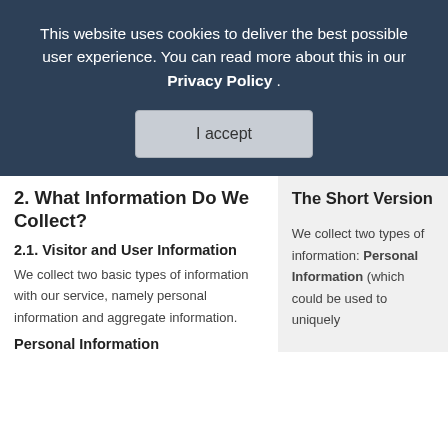This website uses cookies to deliver the best possible user experience. You can read more about this in our Privacy Policy .
I accept
2. What Information Do We Collect?
The Short Version
2.1. Visitor and User Information
We collect two basic types of information with our service, namely personal information and aggregate information.
We collect two types of information: Personal Information (which could be used to uniquely
Personal Information